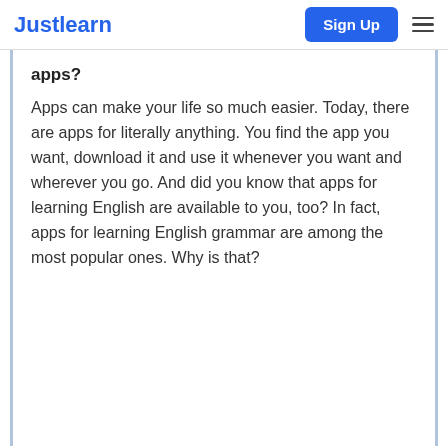Justlearn | Sign Up
apps?
Apps can make your life so much easier. Today, there are apps for literally anything. You find the app you want, download it and use it whenever you want and wherever you go. And did you know that apps for learning English are available to you, too? In fact, apps for learning English grammar are among the most popular ones. Why is that?